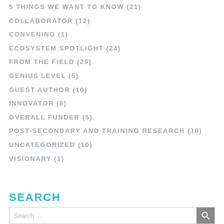5 THINGS WE WANT TO KNOW (21)
COLLABORATOR (12)
CONVENING (1)
ECOSYSTEM SPOTLIGHT (24)
FROM THE FIELD (29)
GENIUS LEVEL (5)
GUEST AUTHOR (10)
INNOVATOR (8)
OVERALL FUNDER (5)
POST-SECONDARY AND TRAINING RESEARCH (10)
UNCATEGORIZED (10)
VISIONARY (1)
SEARCH